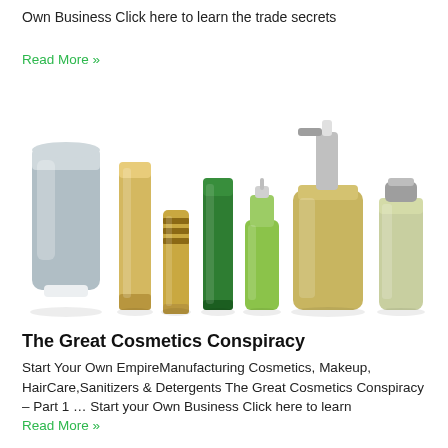Own Business Click here to learn the trade secrets
Read More »
[Figure (illustration): Seven cosmetic product containers arranged in a row: a large flat blue/silver squeeze tube, a tall gold cylinder, a short gold cylinder with rings, a green tube, a small green pump bottle, a large gold pump bottle with white pump head, and a light green/cream tall bottle with silver cap.]
The Great Cosmetics Conspiracy
Start Your Own EmpireManufacturing Cosmetics, Makeup, HairCare,Sanitizers & Detergents The Great Cosmetics Conspiracy – Part 1 … Start your Own Business Click here to learn
Read More »